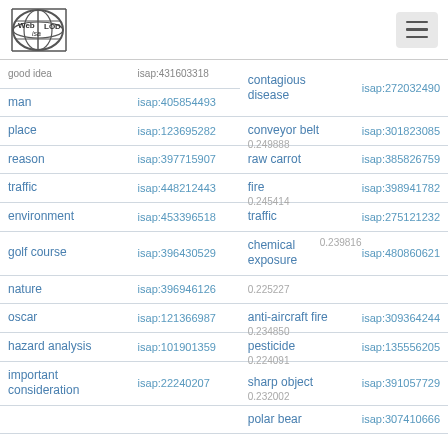Web isa LOD
| term | isap id | term | isap id |
| --- | --- | --- | --- |
| good idea | isap:431603318 | contagious disease | isap:272032490 |
| man | isap:405854493 | contagious disease | isap:272032490 |
| place | isap:123695282 | conveyor belt / 0.249888 | isap:301823085 |
| reason | isap:397715907 | raw carrot | isap:385826759 |
| traffic | isap:448212443 | fire / 0.245414 | isap:398941782 |
| environment | isap:453396518 | traffic | isap:275121232 |
| golf course | isap:396430529 | chemical exposure / 0.239816 | isap:480860621 |
| nature | isap:396946126 | 0.225227 |  |
| oscar | isap:121366987 | anti-aircraft fire / 0.234850 | isap:309364244 |
| hazard analysis | isap:101901359 | pesticide / 0.224091 | isap:135556205 |
| important consideration | isap:22240207 | sharp object / 0.232002 | isap:391057729 |
|  |  | polar bear | isap:307410666 |